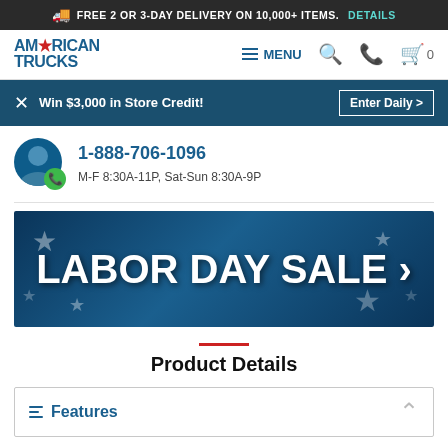FREE 2 OR 3-DAY DELIVERY ON 10,000+ ITEMS. DETAILS
[Figure (logo): American Trucks logo with navigation bar including MENU, search, phone, and cart icons]
Win $3,000 in Store Credit! Enter Daily >
1-888-706-1096
M-F 8:30A-11P, Sat-Sun 8:30A-9P
[Figure (illustration): Labor Day Sale promotional banner with white bold text on dark blue background with star decorations]
Product Details
Features